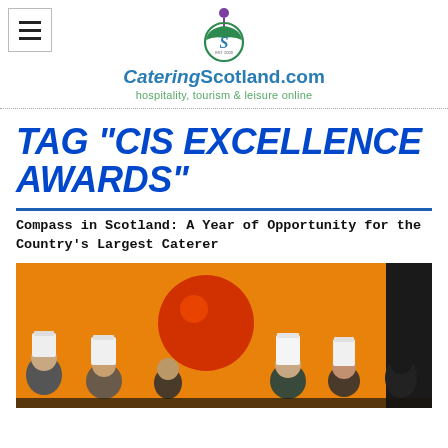CateringScotland.com — hospitality, tourism & leisure online
TAG "CIS EXCELLENCE AWARDS"
Compass in Scotland: A Year of Opportunity for the Country's Largest Caterer
[Figure (photo): Group of chefs in tall white toques on a stage with orange/amber background and a large red decorative sphere, possibly at an awards ceremony.]